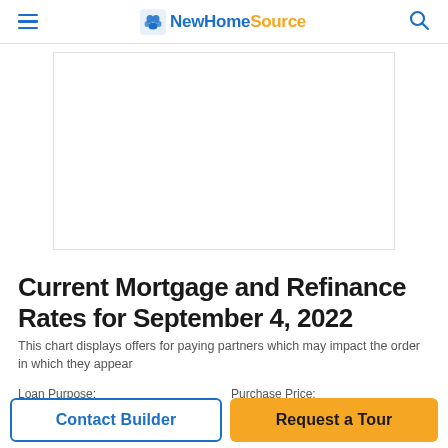NewHomeSource
[Figure (other): Advertisement placeholder box — white rectangle with light border]
Current Mortgage and Refinance Rates for September 4, 2022
This chart displays offers for paying partners which may impact the order in which they appear
Loan Purpose: | Purchase Price:
Contact Builder | Request a Tour